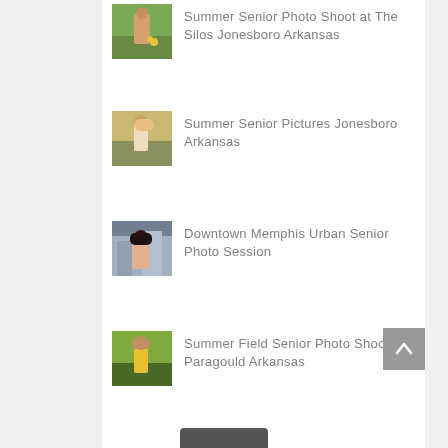Summer Senior Photo Shoot at The Silos Jonesboro Arkansas
Summer Senior Pictures Jonesboro Arkansas
Downtown Memphis Urban Senior Photo Session
Summer Field Senior Photo Shoot Paragould Arkansas